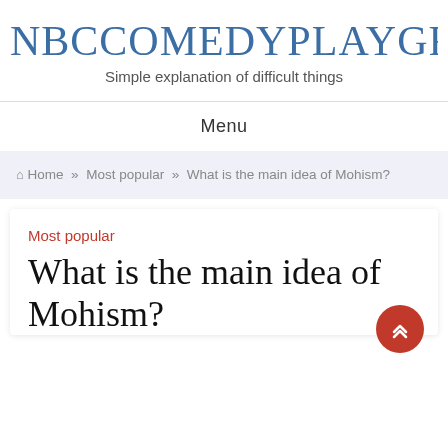NBCCOMEDYPLAYGROUND
Simple explanation of difficult things
Menu
🏠 Home » Most popular » What is the main idea of Mohism?
Most popular
What is the main idea of Mohism?